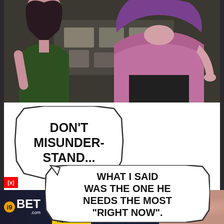[Figure (illustration): Manga/webtoon panel showing two female characters from behind/side. Left character in green top with dark hair, right character in pink/mauve shirt with purple hair. Background shows storage area with boxes.]
DON'T MISUNDER-STAND...
WHAT I SAID WAS THE ONE HE NEEDS THE MOST "RIGHT NOW".
[Figure (illustration): Advertisement banner for i9BET.com featuring 'Sexy Girl DANH CHO BAN XEM NGAY DE NHAN 100K XEM NGAY']